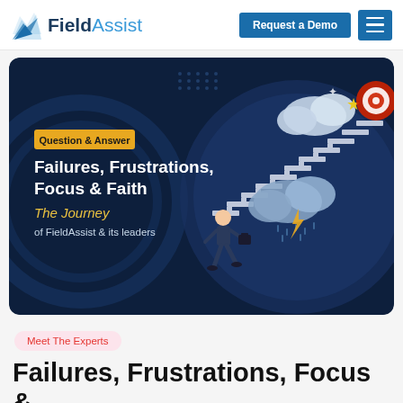[Figure (logo): FieldAssist logo with blue chevron/wave icon and two-tone wordmark: 'Field' in dark navy bold, 'Assist' in lighter blue regular weight]
Request a Demo
[Figure (illustration): Dark navy blue banner card with illustrated scene: a businessman in suit running up white stairs toward a target/goal icon, with clouds, rain, lightning bolt and stars in background. Overlaid text reads: 'Question & Answer' tag (yellow), 'Failures, Frustrations, Focus & Faith' (white bold), 'The Journey' (yellow italic), 'of FieldAssist & its leaders' (white)]
Meet The Experts
Failures, Frustrations, Focus &